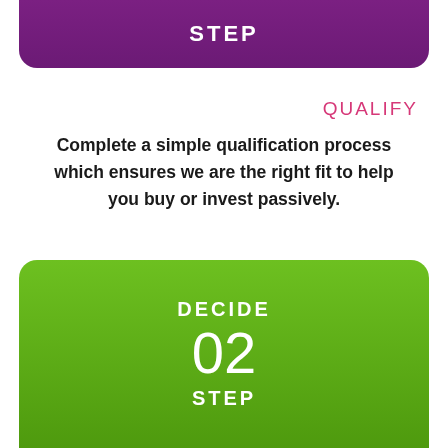[Figure (infographic): Purple rounded banner at top showing 'STEP' text in white bold uppercase letters, partially cropped at top of page.]
QUALIFY
Complete a simple qualification process which ensures we are the right fit to help you buy or invest passively.
[Figure (infographic): Green rounded box showing 'DECIDE' in white bold uppercase, '02' in large white text, and 'STEP' in white bold uppercase below.]